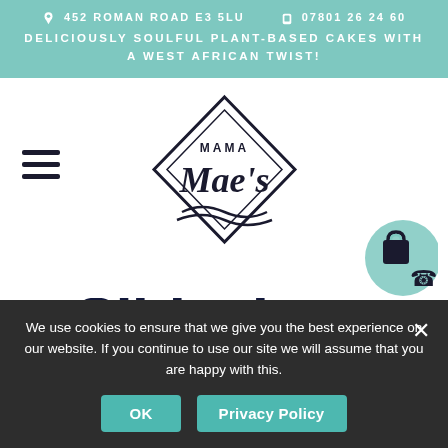452 ROMAN ROAD E3 5LU   07801 26 24 60
DELICIOUSLY SOULFUL PLANT-BASED CAKES WITH A WEST AFRICAN TWIST!
[Figure (logo): Mama Mae's logo: diamond shape outline with cursive 'Mae's' and uppercase 'MAMA' text inside]
[Figure (illustration): Teal blob shape with shopping bag and phone icons]
Slideshow
[vc_row section_id="sec2" section_padding="big
We use cookies to ensure that we give you the best experience on our website. If you continue to use our site we will assume that you are happy with this.
OK   Privacy Policy